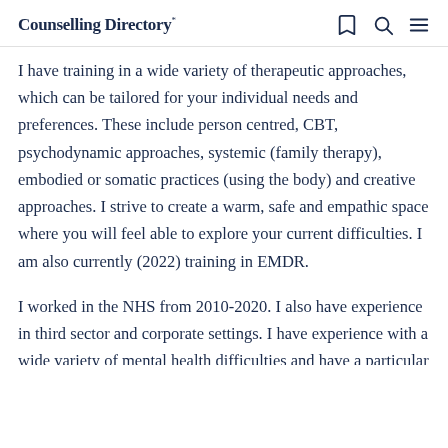Counselling Directory*
I have training in a wide variety of therapeutic approaches, which can be tailored for your individual needs and preferences. These include person centred, CBT, psychodynamic approaches, systemic (family therapy), embodied or somatic practices (using the body) and creative approaches. I strive to create a warm, safe and empathic space where you will feel able to explore your current difficulties. I am also currently (2022) training in EMDR.
I worked in the NHS from 2010-2020. I also have experience in third sector and corporate settings. I have experience with a wide variety of mental health difficulties and have a particular interest in working